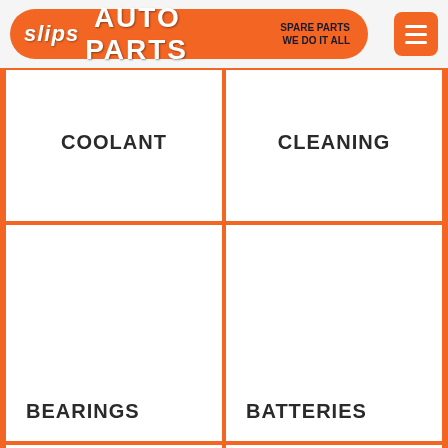[Figure (logo): Slips Auto Parts logo on orange pill-shaped banner with tagline 'SPARE PARTS We Do It All' and orange hamburger menu button]
| Col1 | Col2 |
| --- | --- |
| COOLANT | CLEANING |
| BEARINGS | BATTERIES |
|  |  |